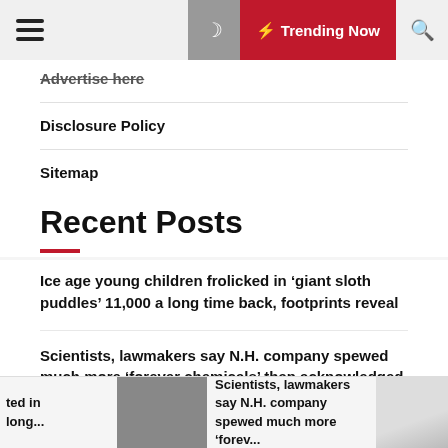Hamburger menu | Trending Now | Search
Advertise here
Disclosure Policy
Sitemap
Recent Posts
Ice age young children frolicked in ‘giant sloth puddles’ 11,000 a long time back, footprints reveal
Scientists, lawmakers say N.H. company spewed much more ‘forever chemicals’ than acknowledged
ted in long... | Scientists, lawmakers say N.H. company spewed much more ‘forev...